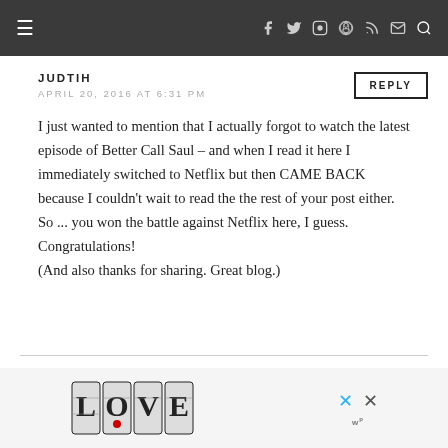≡  f  t  ◻  ⊕  ≫  ✉  ⚲
JUDTIH
REPLY
APRIL 20, 2016 AT 6:31 PM
I just wanted to mention that I actually forgot to watch the latest episode of Better Call Saul – and when I read it here I immediately switched to Netflix but then CAME BACK because I couldn't wait to read the the rest of your post either. So ... you won the battle against Netflix here, I guess. Congratulations!
(And also thanks for sharing. Great blog.)
APRIL 20, 2016 AT 6:46